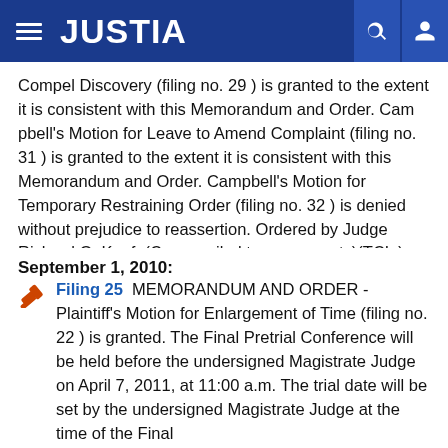JUSTIA
Compel Discovery (filing no. 29 ) is granted to the extent it is consistent with this Memorandum and Order. Cam pbell's Motion for Leave to Amend Complaint (filing no. 31 ) is granted to the extent it is consistent with this Memorandum and Order. Campbell's Motion for Temporary Restraining Order (filing no. 32 ) is denied without prejudice to reassertion. Ordered by Judge Richard G. Kopf. (Copy mailed to pro se party)(TCL )
September 1, 2010:
Filing 25  MEMORANDUM AND ORDER - Plaintiff's Motion for Enlargement of Time (filing no. 22 ) is granted. The Final Pretrial Conference will be held before the undersigned Magistrate Judge on April 7, 2011, at 11:00 a.m. The trial date will be set by the undersigned Magistrate Judge at the time of the Final